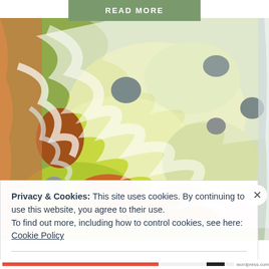READ MORE
[Figure (illustration): Aerial-view style colorful painting of rocks, water, and yellow-green mossy areas with white swirling water patterns, orange and earthy tones]
Privacy & Cookies: This site uses cookies. By continuing to use this website, you agree to their use.
To find out more, including how to control cookies, see here: Cookie Policy
Close and accept